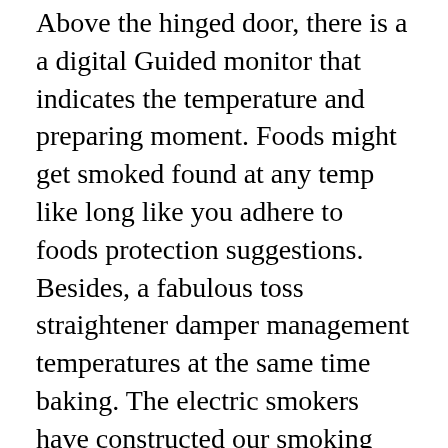Above the hinged door, there is a a digital Guided monitor that indicates the temperature and preparing moment. Foods might get smoked found at any temp like long like you adhere to foods protection suggestions. Besides, a fabulous toss straightener damper management temperatures at the same time baking. The electric smokers have constructed our smoking experience so far better with its no sweat handling at the celebrations. The Get far better at forge company usually delivers the most effective entry-level smoker that could be assembled within 20-30 a few mins. This smoker was built for users ease.
Gap Employer Grills is a good part of Dansons, Inc, which like founded found in 1999 by Dan Theissen and his 2 kids Jeff and Test. And Get good at forge power person was first at our program to give food to the masses! The best way to keep up with our new